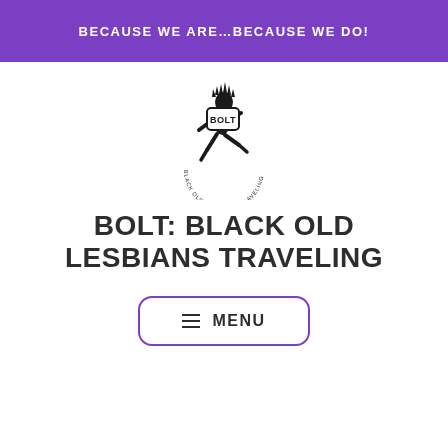BECAUSE WE ARE…BECAUSE WE DO!
[Figure (logo): BOLT logo: silhouette of a person running with spiky hair, circular badge with 'BOLT' text, and text around the bottom reading 'BLACK OLD LESBIANS TRAVELING']
BOLT: BLACK OLD LESBIANS TRAVELING
≡ MENU